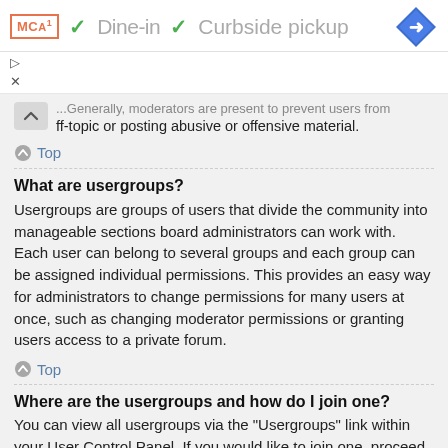[Figure (screenshot): Ad banner showing MCA logo, checkmarks for Dine-in and Curbside pickup, and a blue navigation diamond icon]
[Figure (screenshot): Small play and close icons row]
...Generally, moderators are present to prevent users from going off-topic or posting abusive or offensive material.
Top
What are usergroups?
Usergroups are groups of users that divide the community into manageable sections board administrators can work with. Each user can belong to several groups and each group can be assigned individual permissions. This provides an easy way for administrators to change permissions for many users at once, such as changing moderator permissions or granting users access to a private forum.
Top
Where are the usergroups and how do I join one?
You can view all usergroups via the "Usergroups" link within your User Control Panel. If you would like to join one, proceed by clicking